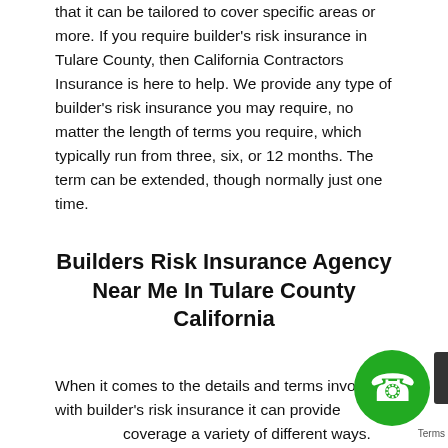that it can be tailored to cover specific areas or more. If you require builder's risk insurance in Tulare County, then California Contractors Insurance is here to help. We provide any type of builder's risk insurance you may require, no matter the length of terms you require, which typically run from three, six, or 12 months. The term can be extended, though normally just one time.
Builders Risk Insurance Agency Near Me In Tulare County California
When it comes to the details and terms involved with builder's risk insurance it can provide coverage a variety of different ways. For